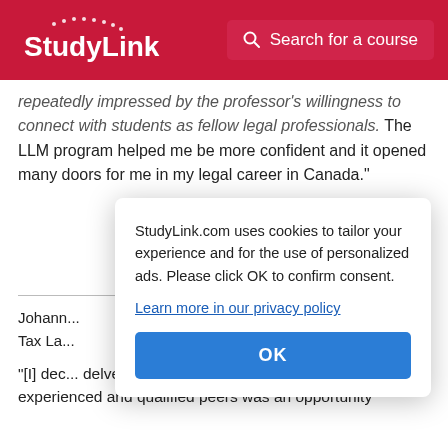StudyLink | Search for a course
repeatedly impressed by the professor's willingness to connect with students as fellow legal professionals. The LLM program helped me be more confident and it opened many doors for me in my legal career in Canada."
Johann...
Tax La...
"[I] dec... delve d... opportu... Profess... experienced and qualified peers was an opportunity
StudyLink.com uses cookies to tailor your experience and for the use of personalized ads. Please click OK to confirm consent.
Learn more in our privacy policy
OK